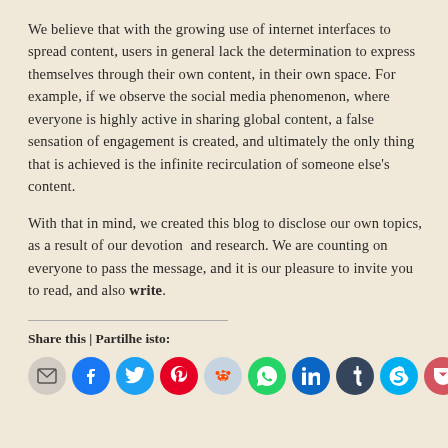We believe that with the growing use of internet interfaces to spread content, users in general lack the determination to express themselves through their own content, in their own space. For example, if we observe the social media phenomenon, where everyone is highly active in sharing global content, a false sensation of engagement is created, and ultimately the only thing that is achieved is the infinite recirculation of someone else's content.
With that in mind, we created this blog to disclose our own topics, as a result of our devotion  and research. We are counting on everyone to pass the message, and it is our pleasure to invite you to read, and also write.
Share this | Partilhe isto:
[Figure (infographic): Row of social media share icon buttons: email (grey), Facebook (blue), Twitter (light blue), Pinterest (red), Reddit (light blue), WhatsApp (green), LinkedIn (blue), Tumblr (dark navy), Skype (cyan), Pocket (crimson), Telegram (blue)]